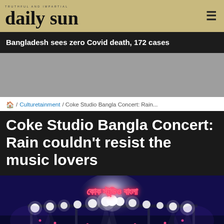daily sun
Bangladesh sees zero Covid death, 172 cases
[Figure (other): Gray advertisement placeholder banner]
/ Culturetainment / Coke Studio Bangla Concert: Rain...
Coke Studio Bangla Concert: Rain couldn't resist the music lovers
[Figure (photo): Concert stage with bright stage lights, neon Coke Studio Bangla logo in Bengali script, audience silhouettes, dark night setting with purple and blue lighting]